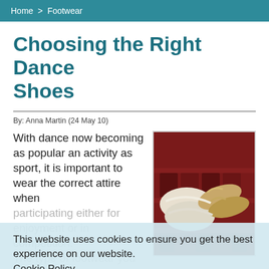Home > Footwear
Choosing the Right Dance Shoes
By: Anna Martin (24 May 10)
[Figure (photo): Hands holding ballet/pointe shoes with red background]
With dance now becoming as popular an activity as sport, it is important to wear the correct attire when participating either for enjoyment or in competition. The type of footwear you choose should be chosen carefully and dance footwear must be comfortable, non-restrictive and comply with the particular kit or dress requirements of the type of dance you enjoy.
This website uses cookies to ensure you get the best experience on our website.
Cookie Policy
Got it!
When Wear Dance Shoes?